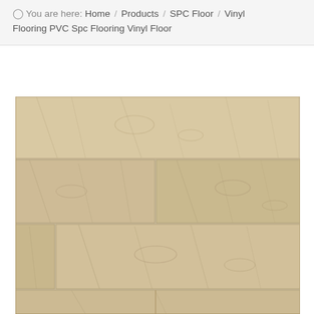You are here: Home / Products / SPC Floor / Vinyl Flooring PVC Spc Flooring Vinyl Floor
[Figure (photo): Photo of vinyl SPC flooring planks showing light beige/tan wood-grain texture arranged in horizontal rows with offset joints]